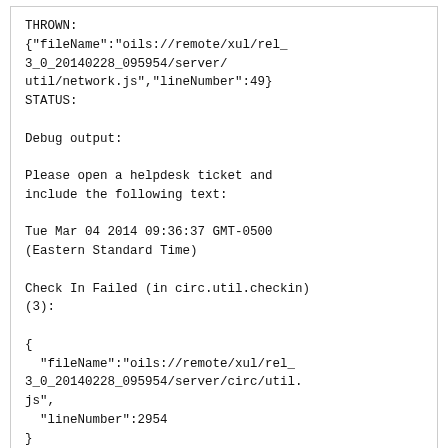THROWN:
{"fileName":"oils://remote/xul/rel_3_0_20140228_095954/server/util/network.js","lineNumber":49}
STATUS:

Debug output:

Please open a helpdesk ticket and include the following text:

Tue Mar 04 2014 09:36:37 GMT-0500 (Eastern Standard Time)

Check In Failed (in circ.util.checkin)(3):

{
  "fileName":"oils://remote/xul/rel_3_0_20140228_095954/server/circ/util.js",
  "lineNumber":2954
}
Dan Wells (dbw2) wrote on 2014-03-04:
#34